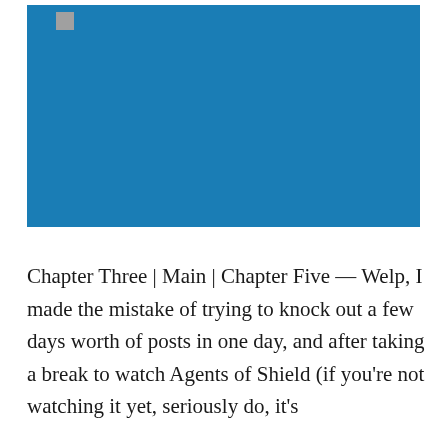[Figure (photo): Large blue rectangular image placeholder, approximately 393x222px, with a small thumbnail icon in the top-left corner.]
Chapter Three | Main | Chapter Five — Welp, I made the mistake of trying to knock out a few days worth of posts in one day, and after taking a break to watch Agents of Shield (if you're not watching it yet, seriously do, it's